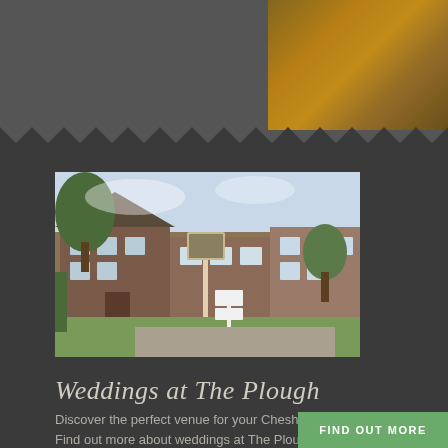[Figure (photo): Top background section with grey and warm amber/brown tones suggesting autumn foliage or food photography on the right side]
[Figure (photo): Photo of The Plough Inn exterior: a traditional red brick English pub/inn with trees and a sign post in the foreground, green lawn, overcast sky]
Weddings at The Plough
Discover the perfect venue for your Cheshire wedding. Find out more about weddings at The Plough Inn
FIND OUT MORE